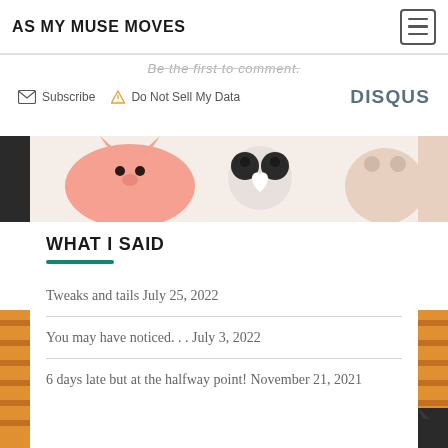AS MY MUSE MOVES
Be the first to comment.
Subscribe  Do Not Sell My Data  DISQUS
[Figure (illustration): Colorful cartoon animal illustrations strip showing cats and foxes in pastel colors]
WHAT I SAID
Tweaks and tails  July 25, 2022
You may have noticed. . .  July 3, 2022
6 days late but at the halfway point!  November 21, 2021